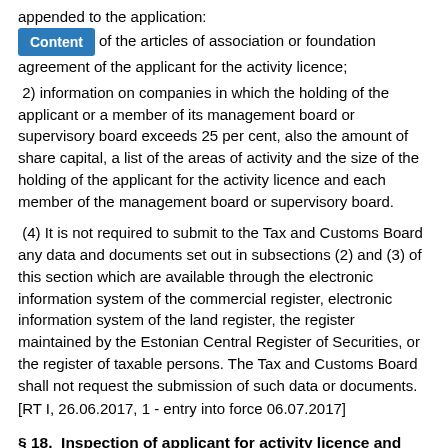appended to the application:
1) a copy of the articles of association or foundation agreement of the applicant for the activity licence;
2) information on companies in which the holding of the applicant or a member of its management board or supervisory board exceeds 25 per cent, also the amount of share capital, a list of the areas of activity and the size of the holding of the applicant for the activity licence and each member of the management board or supervisory board.
(4) It is not required to submit to the Tax and Customs Board any data and documents set out in subsections (2) and (3) of this section which are available through the electronic information system of the commercial register, electronic information system of the land register, the register maintained by the Estonian Central Register of Securities, or the register of taxable persons. The Tax and Customs Board shall not request the submission of such data or documents.
[RT I, 26.06.2017, 1 - entry into force 06.07.2017]
§ 18.  Inspection of applicant for activity licence and deciding on issue of activity licence
(1) Before deciding on the issue of an activity licence, it is verified